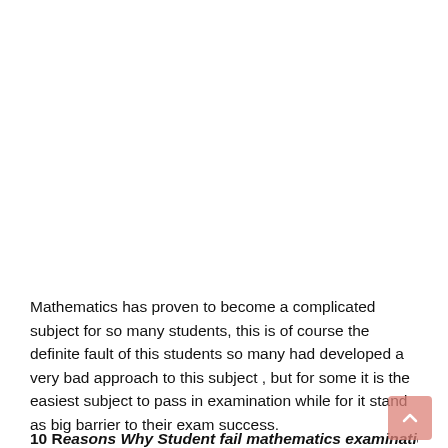Mathematics has proven to become a complicated subject for so many students, this is of course the definite fault of this students so many had developed a very bad approach to this subject , but for some it is the easiest subject to pass in examination while for it stand as big barrier to their exam success.
10 Reasons Why Student fail mathematics examination